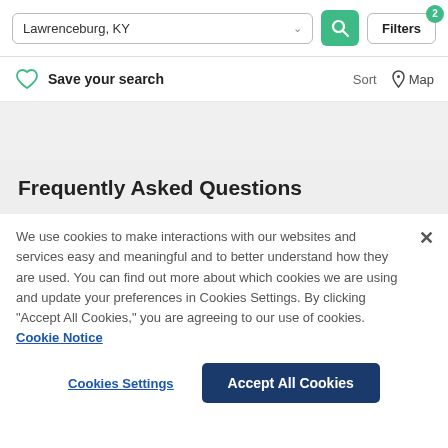[Figure (screenshot): Search bar with 'Lawrenceburg, KY' text, dropdown chevron, green search button with magnifying glass icon, and Filters button with badge showing 2]
Save your search
Sort   Map
Frequently Asked Questions
We use cookies to make interactions with our websites and services easy and meaningful and to better understand how they are used. You can find out more about which cookies we are using and update your preferences in Cookies Settings. By clicking "Accept All Cookies," you are agreeing to our use of cookies.  Cookie Notice
Cookies Settings
Accept All Cookies